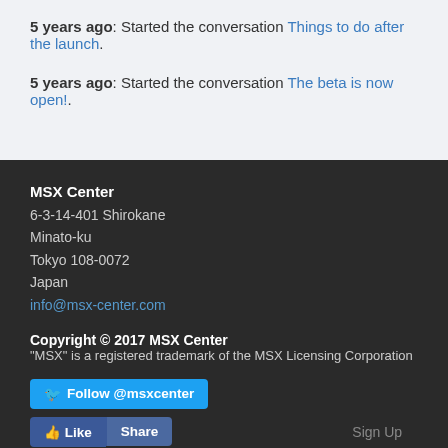5 years ago: Started the conversation Things to do after the launch.
5 years ago: Started the conversation The beta is now open!.
MSX Center
6-3-14-401 Shirokane
Minato-ku
Tokyo 108-0072
Japan
info@msx-center.com
Copyright © 2017 MSX Center
"MSX" is a registered trademark of the MSX Licensing Corporation
Follow @msxcenter
Like  Share  Sign Up